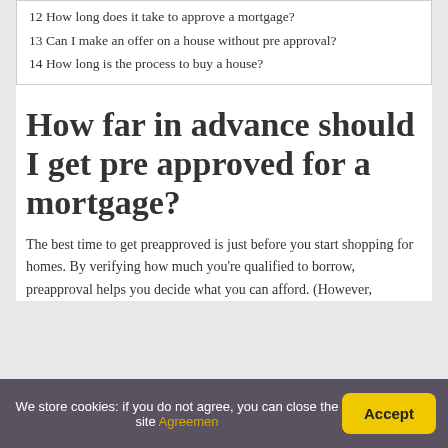12 How long does it take to approve a mortgage?
13 Can I make an offer on a house without pre approval?
14 How long is the process to buy a house?
How far in advance should I get pre approved for a mortgage?
The best time to get preapproved is just before you start shopping for homes. By verifying how much you're qualified to borrow, preapproval helps you decide what you can afford. (However,
We store cookies: if you do not agree, you can close the site Agreemen